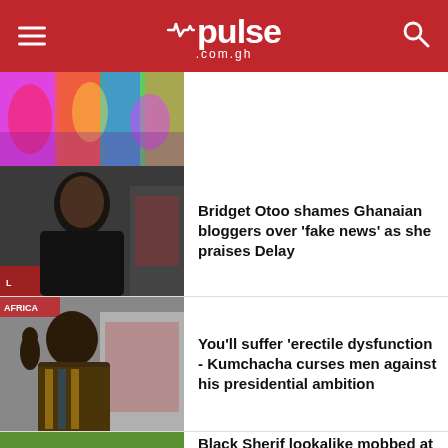pulse.com.gh
[Figure (photo): Colorful carnival/festival attendees top thumbnail]
[Figure (photo): Bridget Otoo portrait photo]
Bridget Otoo shames Ghanaian bloggers over 'fake news' as she praises Delay
[Figure (photo): Kumchacha speaking on TV show photo]
You'll suffer 'erectile dysfunction - Kumchacha curses men against his presidential ambition
[Figure (photo): Black Sherif lookalike at Circle crowd photo]
Black Sherif lookalike mobbed at Circle; also performs at a show (WATCH)